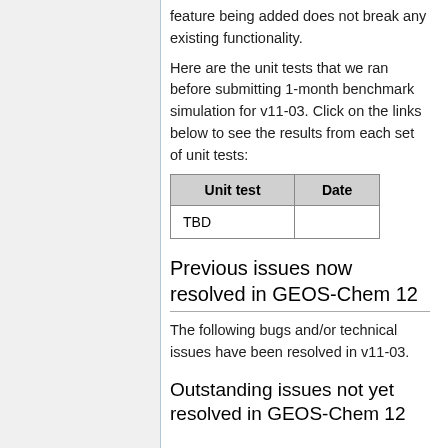feature being added does not break any existing functionality.
Here are the unit tests that we ran before submitting 1-month benchmark simulation for v11-03. Click on the links below to see the results from each set of unit tests:
| Unit test | Date |
| --- | --- |
| TBD |  |
Previous issues now resolved in GEOS-Chem 12
The following bugs and/or technical issues have been resolved in v11-03.
Outstanding issues not yet resolved in GEOS-Chem 12